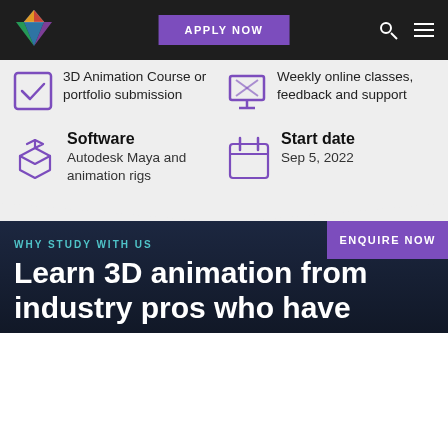[Figure (logo): Colorful gem/prism logo icon]
APPLY NOW
3D Animation Course or portfolio submission
Weekly online classes, feedback and support
Software
Autodesk Maya and animation rigs
Start date
Sep 5, 2022
ENQUIRE NOW
WHY STUDY WITH US
Learn 3D animation from industry pros who have